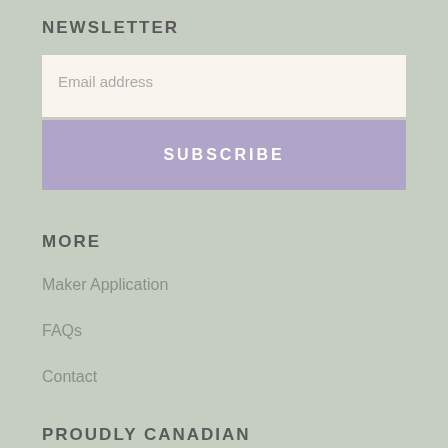NEWSLETTER
Email address
SUBSCRIBE
MORE
Maker Application
FAQs
Contact
PROUDLY CANADIAN